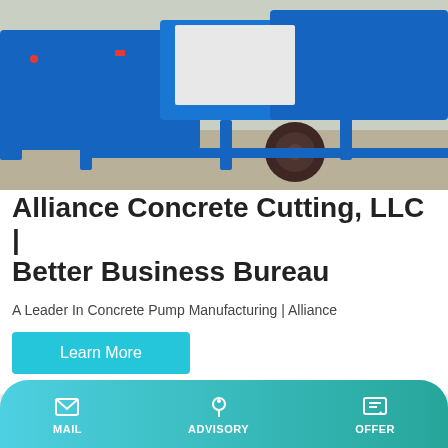[Figure (photo): Blue concrete pump machine on a trailer, parked on a concrete surface outdoors.]
Alliance Concrete Cutting, LLC | Better Business Bureau
A Leader In Concrete Pump Manufacturing | Alliance
Learn More
[Figure (photo): White industrial machinery with the TALENET logo visible, photographed in a clean industrial setting.]
MAIL   ADVISORY   OFFER